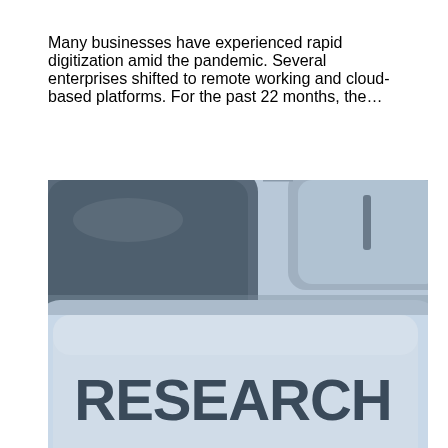Many businesses have experienced rapid digitization amid the pandemic. Several enterprises shifted to remote working and cloud-based platforms. For the past 22 months, the…
[Figure (photo): Close-up photograph of a blue-gray computer keyboard key labeled 'RESEARCH' in dark bold letters, with other keys visible in the background.]